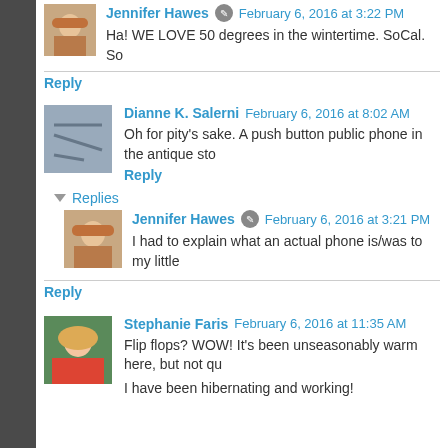Jennifer Hawes  February 6, 2016 at 3:22 PM
Ha! WE LOVE 50 degrees in the wintertime. SoCal. So
Reply
Dianne K. Salerni  February 6, 2016 at 8:02 AM
Oh for pity's sake. A push button public phone in the antique sto
Reply
Replies
Jennifer Hawes  February 6, 2016 at 3:21 PM
I had to explain what an actual phone is/was to my little
Reply
Stephanie Faris  February 6, 2016 at 11:35 AM
Flip flops? WOW! It's been unseasonably warm here, but not qu
I have been hibernating and working!